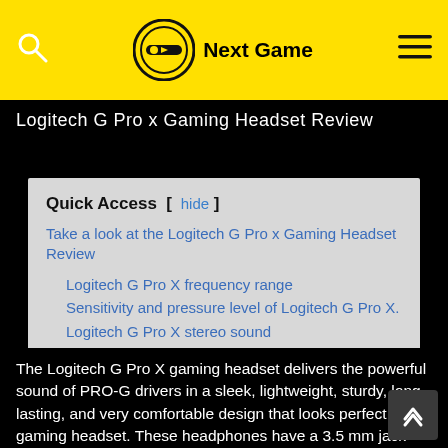Next Game
Logitech G Pro x Gaming Headset Review
Quick Access
Take a look at the Logitech G Pro x Gaming Headset Review
Logitech G Pro X frequency range
Sensitivity and pressure level of Logitech G Pro X.
Logitech G Pro X stereo sound
Logitech G Pro X microphone
How to connect a headset
The Logitech G Pro X gaming headset delivers the powerful sound of PRO-G drivers in a sleek, lightweight, sturdy, long-lasting, and very comfortable design that looks perfect as a gaming headset. These headphones have a 3.5 mm jack connection interface and suitable